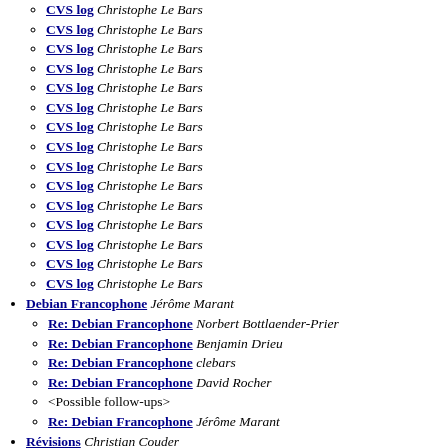CVS log Christophe Le Bars
CVS log Christophe Le Bars
CVS log Christophe Le Bars
CVS log Christophe Le Bars
CVS log Christophe Le Bars
CVS log Christophe Le Bars
CVS log Christophe Le Bars
CVS log Christophe Le Bars
CVS log Christophe Le Bars
CVS log Christophe Le Bars
CVS log Christophe Le Bars
CVS log Christophe Le Bars
CVS log Christophe Le Bars
CVS log Christophe Le Bars
CVS log Christophe Le Bars
Debian Francophone Jérôme Marant
Re: Debian Francophone Norbert Bottlaender-Prier
Re: Debian Francophone Benjamin Drieu
Re: Debian Francophone clebars
Re: Debian Francophone David Rocher
<Possible follow-ups>
Re: Debian Francophone Jérôme Marant
Révisions Christian Couder
Traductions Christian Couder
Traduction de distrib/packages.en.html Hugues Marilleau
Re: Traduction de distrib/packages.en.html